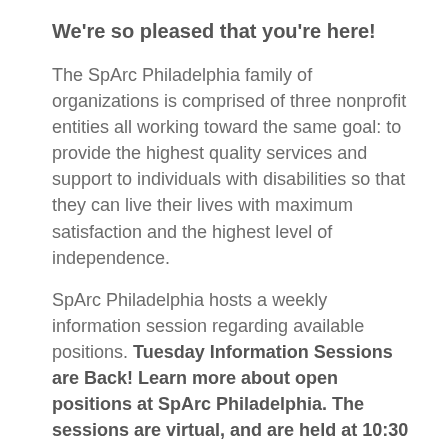We're so pleased that you're here!
The SpArc Philadelphia family of organizations is comprised of three nonprofit entities all working toward the same goal: to provide the highest quality services and support to individuals with disabilities so that they can live their lives with maximum satisfaction and the highest level of independence.
SpArc Philadelphia hosts a weekly information session regarding available positions. Tuesday Information Sessions are Back! Learn more about open positions at SpArc Philadelphia. The sessions are virtual, and are held at 10:30 am every Tuesday. Please